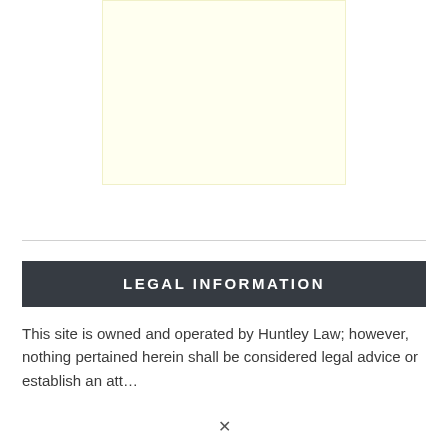[Figure (other): Light yellow/cream colored advertisement or image placeholder box]
LEGAL INFORMATION
This site is owned and operated by Huntley Law; however, nothing pertained herein shall be considered legal advice or establish an attorney-client relationship.